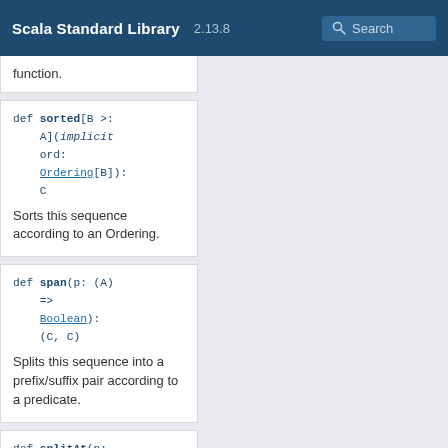Scala Standard Library 2.13.8 Search
function.
def sorted[B >: A](implicit ord: Ordering[B]): C
Sorts this sequence according to an Ordering.
def span(p: (A) => Boolean): (C, C)
Splits this sequence into a prefix/suffix pair according to a predicate.
def splitAt(n: Int): (C,